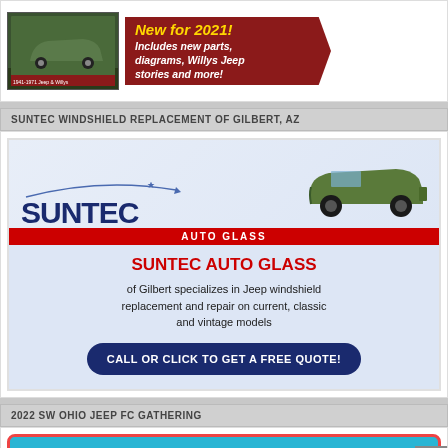[Figure (illustration): Top advertisement for 1941-1971 Jeep & Willys book. Shows book cover with military jeep image on left, and red banner on right reading 'New for 2021! Includes new parts, diagrams, Willys Jeep stories and more!']
SUNTEC WINDSHIELD REPLACEMENT OF GILBERT, AZ
[Figure (illustration): Suntec Auto Glass advertisement. Shows Suntec logo with a vintage military Jeep image, red bar reading AUTO GLASS, then lower section on light blue background reading: SUNTEC AUTO GLASS of Gilbert specializes in Jeep windshield replacement and repair on current, classic and vintage models. Dark navy rounded button: CALL OR CLICK TO GET A FREE QUOTE!]
2022 SW OHIO JEEP FC GATHERING
[Figure (photo): Partial view of a teal/cyan colored image with red border, partially visible at bottom of page]